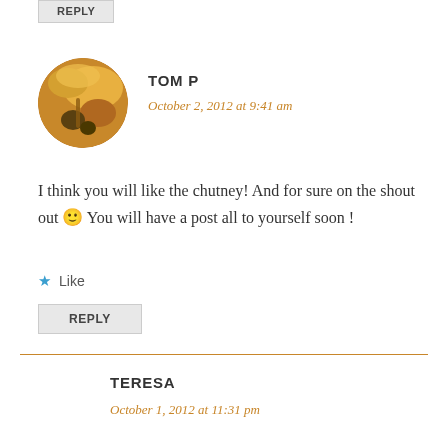REPLY
[Figure (photo): Circular avatar photo of Tom P showing food items including what appears to be cheese and olives with warm orange/brown tones]
TOM P
October 2, 2012 at 9:41 am
I think you will like the chutney! And for sure on the shout out 🙂 You will have a post all to yourself soon !
Like
REPLY
TERESA
October 1, 2012 at 11:31 pm